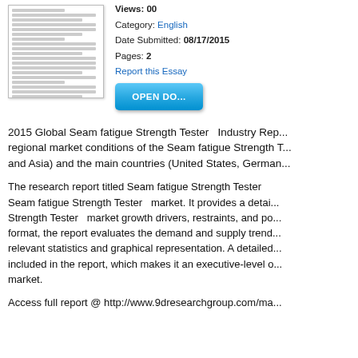[Figure (illustration): Thumbnail preview of a document page with lorem ipsum placeholder text lines]
Category: English
Date Submitted: 08/17/2015
Pages: 2
Report this Essay
[Figure (other): OPEN DOCUMENT button in blue gradient]
2015 Global Seam fatigue Strength Tester   Industry Rep... regional market conditions of the Seam fatigue Strength T... and Asia) and the main countries (United States, German...
The research report titled Seam fatigue Strength Tester  Seam fatigue Strength Tester  market. It provides a detai... Strength Tester  market growth drivers, restraints, and po... format, the report evaluates the demand and supply trend... relevant statistics and graphical representation. A detailed... included in the report, which makes it an executive-level o... market.
Access full report @ http://www.9dresearchgroup.com/ma...